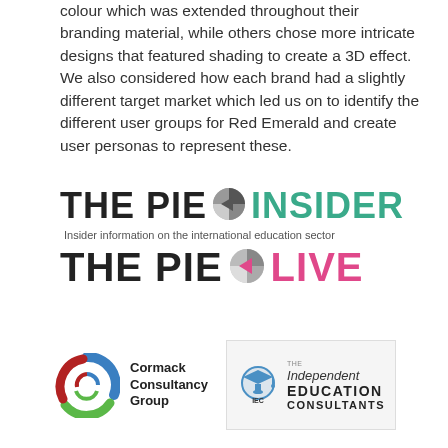colour which was extended throughout their branding material, while others chose more intricate designs that featured shading to create a 3D effect. We also considered how each brand had a slightly different target market which led us on to identify the different user groups for Red Emerald and create user personas to represent these.
[Figure (logo): THE PIE INSIDER logo with pie-chart symbol and tagline: Insider information on the international education sector]
[Figure (logo): THE PIE LIVE logo with pie-chart symbol in pink/grey]
[Figure (logo): Cormack Consultancy Group logo — circular swirl in blue, green and red with company name]
[Figure (logo): The Independent Education Consultants (IEC) logo — mortarboard icon with text in a light grey box]